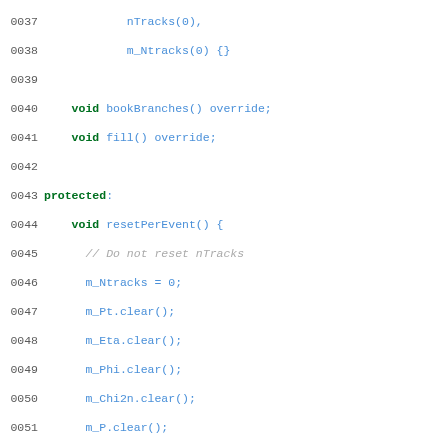Source code listing lines 0037-0066 showing C++ class member functions including bookBranches, fill, resetPerEvent, and resizeVectors